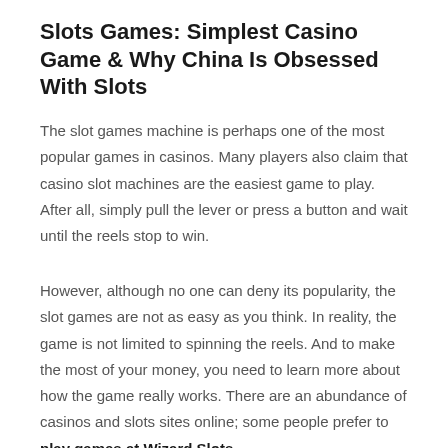Slots Games: Simplest Casino Game & Why China Is Obsessed With Slots
The slot games machine is perhaps one of the most popular games in casinos. Many players also claim that casino slot machines are the easiest game to play. After all, simply pull the lever or press a button and wait until the reels stop to win.
However, although no one can deny its popularity, the slot games are not as easy as you think. In reality, the game is not limited to spinning the reels. And to make the most of your money, you need to learn more about how the game really works. There are an abundance of casinos and slots sites online; some people prefer to play games at Wizard Slots